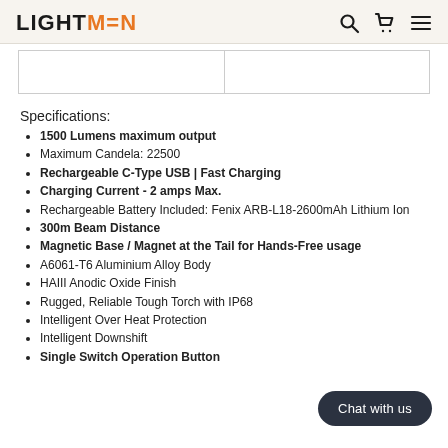LIGHTMEN
Specifications:
1500 Lumens maximum output
Maximum Candela: 22500
Rechargeable C-Type USB | Fast Charging
Charging Current - 2 amps Max.
Rechargeable Battery Included: Fenix ARB-L18-2600mAh Lithium Ion
300m Beam Distance
Magnetic Base / Magnet at the Tail for Hands-Free usage
A6061-T6 Aluminium Alloy Body
HAIII Anodic Oxide Finish
Rugged, Reliable Tough Torch with IP68
Intelligent Over Heat Protection
Intelligent Downshift
Single Switch Operation Button